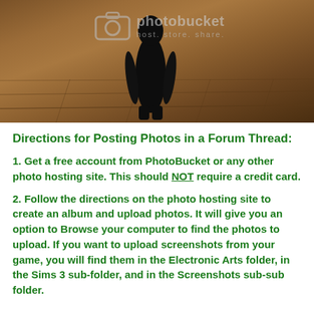[Figure (screenshot): Photobucket watermark overlay on a dark screenshot showing a black character silhouette standing on wooden floor tiles from a video game (The Sims 3). The Photobucket camera logo and 'photobucket host. store. share.' text watermark is visible.]
Directions for Posting Photos in a Forum Thread:
1. Get a free account from PhotoBucket or any other photo hosting site. This should NOT require a credit card.
2. Follow the directions on the photo hosting site to create an album and upload photos. It will give you an option to Browse your computer to find the photos to upload. If you want to upload screenshots from your game, you will find them in the Electronic Arts folder, in the Sims 3 sub-folder, and in the Screenshots sub-sub folder.
3. Once you upload...